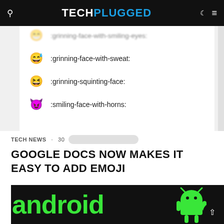TECH PLUGGED
[Figure (screenshot): Screenshot of emoji picker showing :grinning-face-with-smiling-eyes:, :grinning-face-with-sweat:, :grinning-squinting-face:, :smiling-face-with-horns:]
TECH NEWS · 30... [date redacted/blurred]
GOOGLE DOCS NOW MAKES IT EASY TO ADD EMOJI
[Figure (photo): Dark background image showing the Android logo text in green and partial Android robot figure]